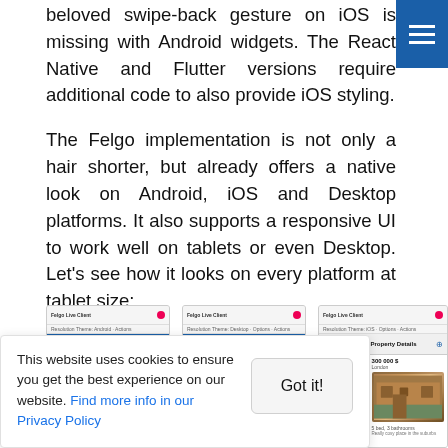beloved swipe-back gesture on iOS is missing with Android widgets. The React Native and Flutter versions require additional code to also provide iOS styling.
The Felgo implementation is not only a hair shorter, but already offers a native look on Android, iOS and Desktop platforms. It also supports a responsive UI to work well on tablets or even Desktop. Let's see how it looks on every platform at tablet size:
[Figure (screenshot): Three screenshots of a Felgo app (Felgo Live client) showing a property listing interface on Android, Desktop, and iOS platforms at tablet size, with a cookie consent banner overlaid on the lower portion.]